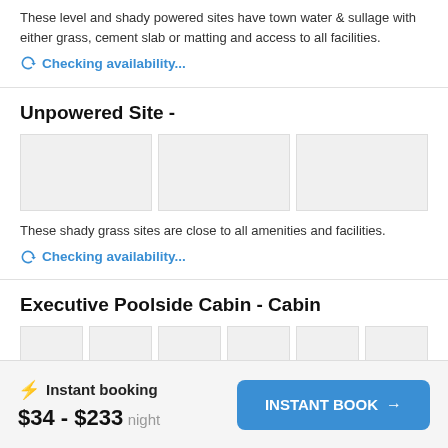These level and shady powered sites have town water & sullage with either grass, cement slab or matting and access to all facilities.
Checking availability...
Unpowered Site -
[Figure (photo): Three placeholder image thumbnails for Unpowered Site]
These shady grass sites are close to all amenities and facilities.
Checking availability...
Executive Poolside Cabin - Cabin
[Figure (photo): Six placeholder image thumbnails for Executive Poolside Cabin]
Instant booking
$34 - $233 night
INSTANT BOOK →